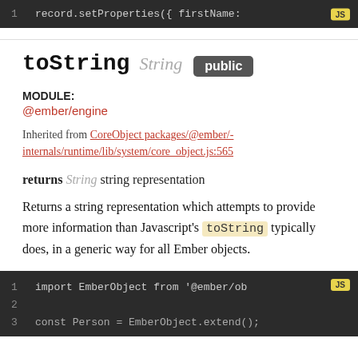[Figure (screenshot): Code block showing line 1: record.setProperties({ firstName: with JS badge]
toString String public
MODULE:
@ember/engine
Inherited from CoreObject packages/@ember/-internals/runtime/lib/system/core_object.js:565
returns String string representation
Returns a string representation which attempts to provide more information than Javascript's toString typically does, in a generic way for all Ember objects.
[Figure (screenshot): Code block showing lines 1-3: import EmberObject from '@ember/ob... with JS badge, line 2 empty, line 3 const Person = EmberObject.extend():]